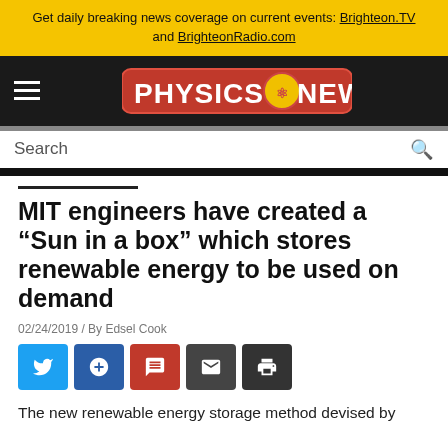Get daily breaking news coverage on current events: Brighteon.TV and BrighteonRadio.com
[Figure (logo): PhysicsNews logo — red pill-shaped background with white bold text PHYSICS and NEWS, circular atom icon between words]
Search
MIT engineers have created a “Sun in a box” which stores renewable energy to be used on demand
02/24/2019 / By Edsel Cook
The new renewable energy storage method devised by